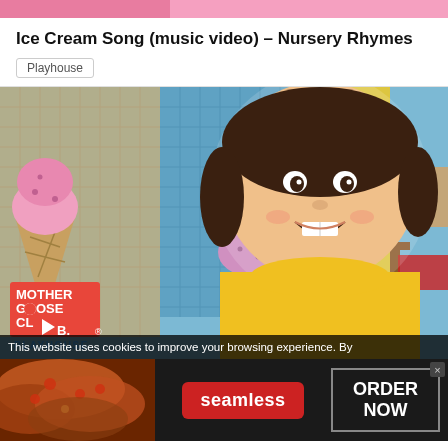[Figure (screenshot): Top strip showing partial video thumbnails in pink/rose colors]
Ice Cream Song (music video) – Nursery Rhymes
Playhouse
[Figure (screenshot): Video thumbnail for Ice Cream Song showing a child in a yellow shirt smiling, with ice cream cone decorations and Mother Goose Club Playhouse logo in the background]
This website uses cookies to improve your browsing experience. By
[Figure (screenshot): Seamless food delivery advertisement showing pizza image on left, red Seamless button in center, and ORDER NOW button on right with close X]